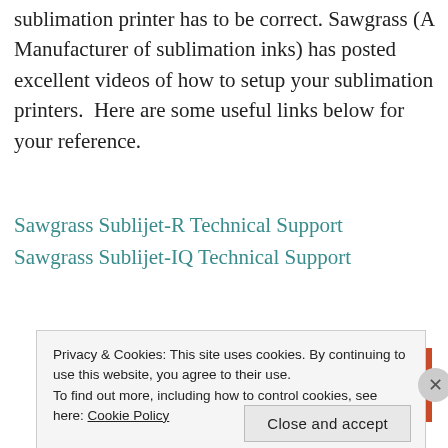sublimation printer has to be correct. Sawgrass (A Manufacturer of sublimation inks) has posted excellent videos of how to setup your sublimation printers.  Here are some useful links below for your reference.
Sawgrass Sublijet-R Technical Support
Sawgrass Sublijet-IQ Technical Support
Advertisements
[Figure (other): Orange advertisement banner with white bold text partially visible reading 'Search, browse, and email']
Privacy & Cookies: This site uses cookies. By continuing to use this website, you agree to their use.
To find out more, including how to control cookies, see here: Cookie Policy
Close and accept